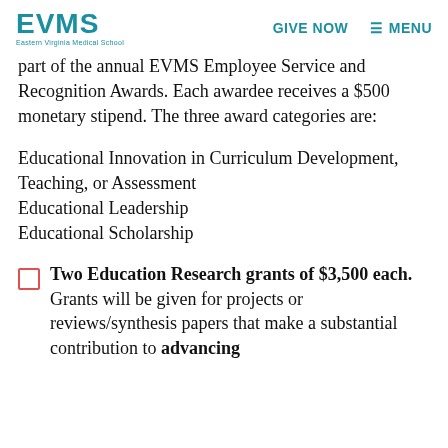EVMS Eastern Virginia Medical School | GIVE NOW | MENU
part of the annual EVMS Employee Service and Recognition Awards. Each awardee receives a $500 monetary stipend. The three award categories are:
Educational Innovation in Curriculum Development, Teaching, or Assessment
Educational Leadership
Educational Scholarship
Two Education Research grants of $3,500 each. Grants will be given for projects or reviews/synthesis papers that make a substantial contribution to advancing